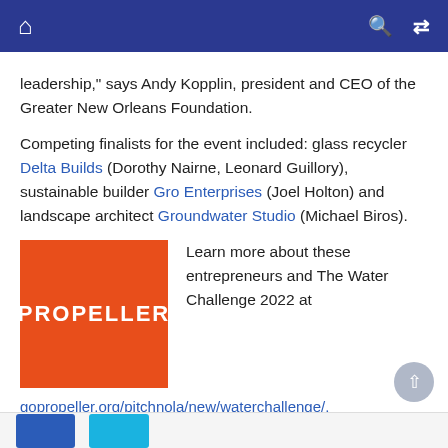Navigation bar with home, search, and shuffle icons
leadership," says Andy Kopplin, president and CEO of the Greater New Orleans Foundation.
Competing finalists for the event included: glass recycler Delta Builds (Dorothy Nairne, Leonard Guillory), sustainable builder Gro Enterprises (Joel Holton) and landscape architect Groundwater Studio (Michael Biros).
[Figure (logo): Propeller logo — orange square with white bold text reading PROPELLER]
Learn more about these entrepreneurs and The Water Challenge 2022 at
gopropeller.org/pitchnola/new/waterchallenge/.